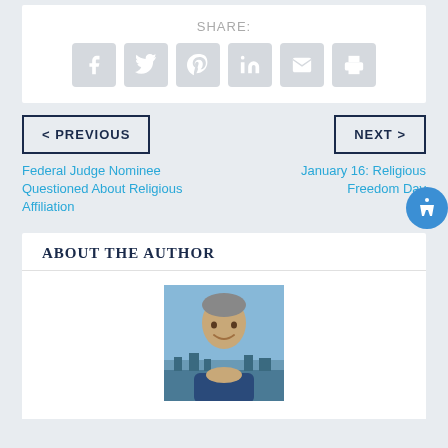SHARE:
[Figure (infographic): Social share icons: Facebook, Twitter, Pinterest, LinkedIn, Email, Print]
< PREVIOUS
NEXT >
Federal Judge Nominee Questioned About Religious Affiliation
January 16: Religious Freedom Day
ABOUT THE AUTHOR
[Figure (photo): Portrait photo of a middle-aged man smiling, outdoors with a blue sky background, wearing a dark blue shirt.]